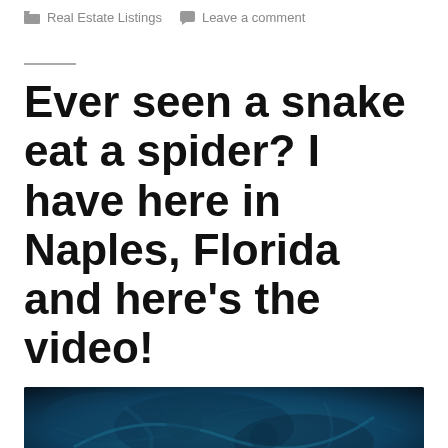Real Estate Listings   Leave a comment
Ever seen a snake eat a spider? I have here in Naples, Florida and here's the video!
[Figure (photo): Dark blue-tinted image showing what appears to be wildlife or nature scene, partially cropped at bottom of page]